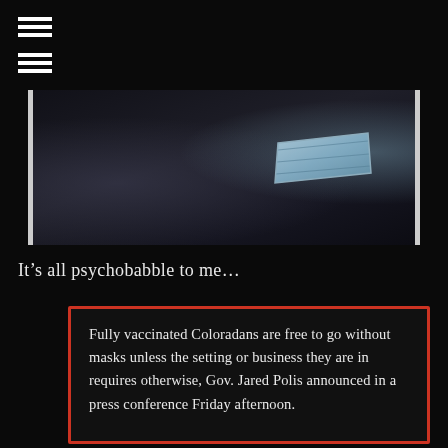[Figure (photo): Dark photograph showing a surgical/medical face mask, dimly lit against a dark background. The mask appears light blue/grey against very dark surroundings.]
It's all psychobabble to me…
Fully vaccinated Coloradans are free to go without masks unless the setting or business they are in requires otherwise, Gov. Jared Polis announced in a press conference Friday afternoon.